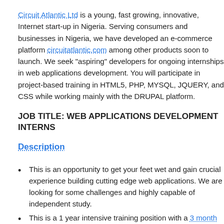Circuit Atlantic Ltd is a young, fast growing, innovative, Internet start-up in Nigeria. Serving consumers and businesses in Nigeria, we have developed an e-commerce platform circuitatlantic.com among other products soon to launch. We seek "aspiring" developers for ongoing internships in web applications development. You will participate in project-based training in HTML5, PHP, MYSQL, JQUERY, and CSS while working mainly with the DRUPAL platform.
JOB TITLE: WEB APPLICATIONS DEVELOPMENT INTERNS
Description
This is an opportunity to get your feet wet and gain crucial experience building cutting edge web applications. We are looking for some challenges and highly capable of independent study.
This is a 1 year intensive training position with a 3 month proba...
Weak performers will be let go after 3 months.
You will have access to up-to-date books and resources, internet... online experts for consultations.
You will also receive a stipend of N25,000 per month for first 6...